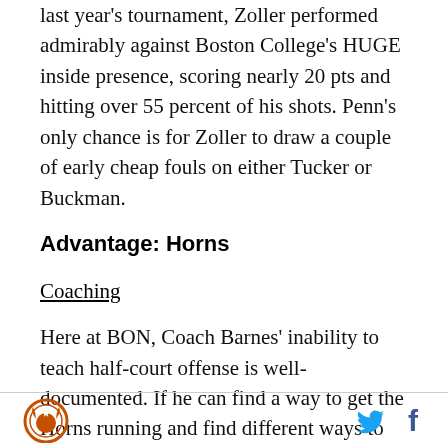last year's tournament, Zoller performed admirably against Boston College's HUGE inside presence, scoring nearly 20 pts and hitting over 55 percent of his shots.  Penn's only chance is for Zoller to draw a couple of early cheap fouls on either Tucker or Buckman.
Advantage: Horns
Coaching
Here at BON, Coach Barnes' inability to teach half-court offense is well-documented.  If he can find a way to get the Horns running and find different ways to get Aldridge touches, this one should be over early in the
[Figure (logo): Burnt Orange Nation logo - circular emblem with longhorn and star]
[Figure (other): Twitter and Facebook social media icons]